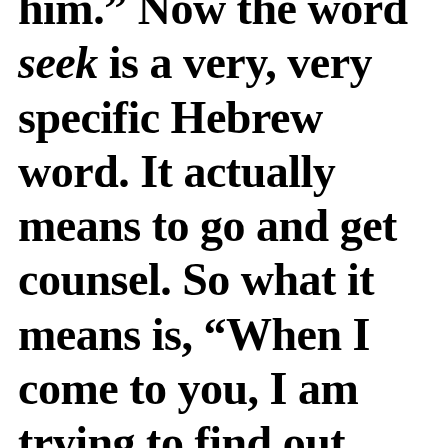him.” Now the word seek is a very, very specific Hebrew word. It actually means to go and get counsel. So what it means is, “When I come to you, I am trying to find out what your will is. Oh